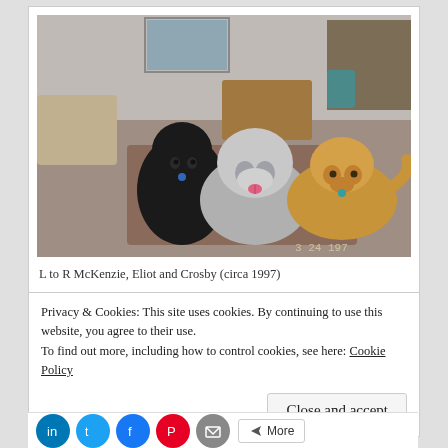[Figure (photo): Indoor photo of three dogs: a black curly-haired dog on the left (McKenzie), a grey and white Old English Sheepdog in the middle (Eliot), and a golden/tan dog on the right (Crosby), lying on a carpeted floor. Date stamp '3 24 197' visible in bottom right corner.]
L to R McKenzie, Eliot and Crosby (circa 1997)
Privacy & Cookies: This site uses cookies. By continuing to use this website, you agree to their use.
To find out more, including how to control cookies, see here: Cookie Policy
Close and accept